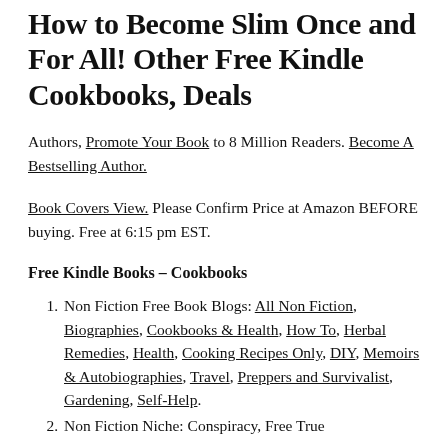How to Become Slim Once and For All! Other Free Kindle Cookbooks, Deals
Authors, Promote Your Book to 8 Million Readers. Become A Bestselling Author.
Book Covers View. Please Confirm Price at Amazon BEFORE buying. Free at 6:15 pm EST.
Free Kindle Books – Cookbooks
Non Fiction Free Book Blogs: All Non Fiction, Biographies, Cookbooks & Health, How To, Herbal Remedies, Health, Cooking Recipes Only, DIY, Memoirs & Autobiographies, Travel, Preppers and Survivalist, Gardening, Self-Help.
Non Fiction Niche: Conspiracy, Free True